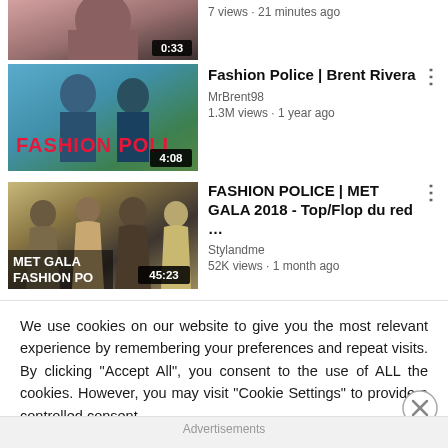[Figure (screenshot): Partial video thumbnail - woman with duration 0:33, meta text: 7 views · 21 minutes ago]
7 views · 21 minutes ago
[Figure (screenshot): YouTube video thumbnail for Fashion Police | Brent Rivera showing two people in blue police costumes. Duration: 4:08]
Fashion Police | Brent Rivera
MrBrent98
1.3M views · 1 year ago
[Figure (screenshot): YouTube video thumbnail for FASHION POLICE | MET GALA 2018 - Top/Flop du red ... showing women in gowns on red carpet. Duration: 45:23]
FASHION POLICE | MET GALA 2018 - Top/Flop du red ...
Styleandme
52K views · 1 month ago
We use cookies on our website to give you the most relevant experience by remembering your preferences and repeat visits. By clicking “Accept All”, you consent to the use of ALL the cookies. However, you may visit "Cookie Settings" to provide a controlled consent.
Advertisements